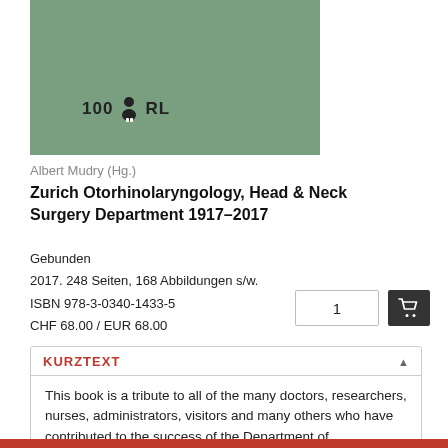[Figure (illustration): Book cover with sage green/muted green background and a logo reading '100 ORL' with a stylized figure icon in the center, displayed on the upper portion of the page.]
Albert Mudry (Hg.)
Zurich Otorhinolaryngology, Head & Neck Surgery Department 1917–2017
Gebunden
2017. 248 Seiten, 168 Abbildungen s/w.
ISBN 978-3-0340-1433-5
CHF 68.00 / EUR 68.00
KURZTEXT
This book is a tribute to all of the many doctors, researchers, nurses, administrators, visitors and many others who have contributed to the success of the Department of Otorhinolaryngology at the University